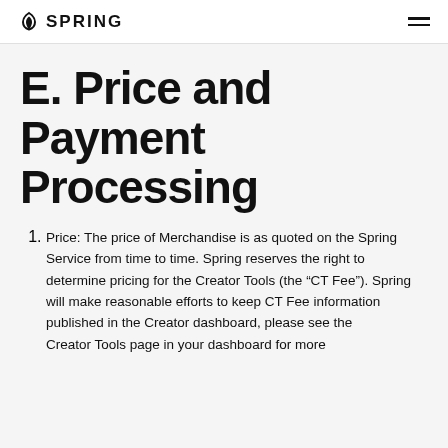SPRING
E. Price and Payment Processing
Price: The price of Merchandise is as quoted on the Spring Service from time to time. Spring reserves the right to determine pricing for the Creator Tools (the “CT Fee”). Spring will make reasonable efforts to keep CT Fee information published in the Creator dashboard, please see the Creator Tools page in your dashboard for more